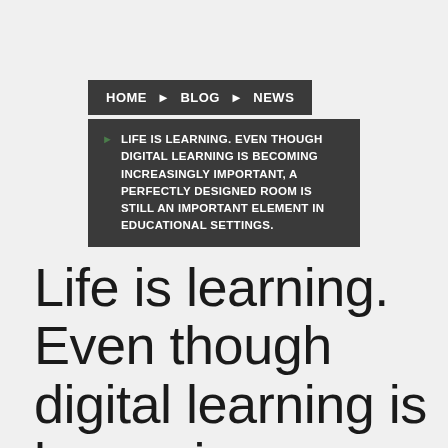HOME › BLOG › NEWS
▶ LIFE IS LEARNING. EVEN THOUGH DIGITAL LEARNING IS BECOMING INCREASINGLY IMPORTANT, A PERFECTLY DESIGNED ROOM IS STILL AN IMPORTANT ELEMENT IN EDUCATIONAL SETTINGS.
Life is learning. Even though digital learning is becoming increasingly important, a perfectly designed room is still